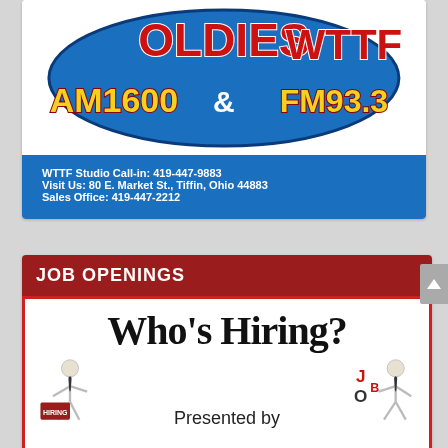[Figure (logo): Oldies WTTF radio station logo with AM 1600 and FM 93.3 branding on blue oval background with red and yellow styled text]
WTTF Studio Call-in: 419-447-9883
Visit Us: 80 E. Market St., Tiffin, Ohio 44883
Sales Office: 419-447-2212
JOB OPENINGS
[Figure (infographic): Who's Hiring? infographic with stick figure carrying a hiring sign on left, Presented by text in center, and another stick figure with JOB text on right]